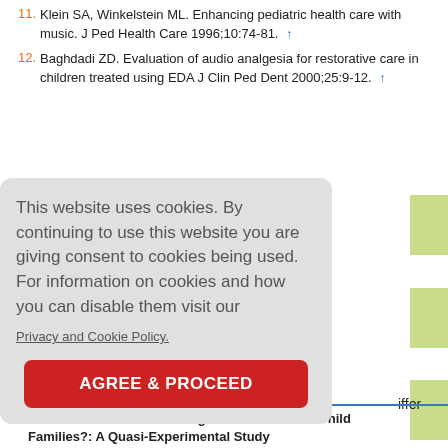11. Klein SA, Winkelstein ML. Enhancing pediatric health care with music. J Ped Health Care 1996;10:74-81. ↑
12. Baghdadi ZD. Evaluation of audio analgesia for restorative care in children treated using EDA J Clin Ped Dent 2000;25:9-12. ↑
This website uses cookies. By continuing to use this website you are giving consent to cookies being used. For information on cookies and how you can disable them visit our Privacy and Cookie Policy. AGREE & PROCEED
1 Between Children From Single-Child and Multi-Child Families?: A Quasi-Experimental Study